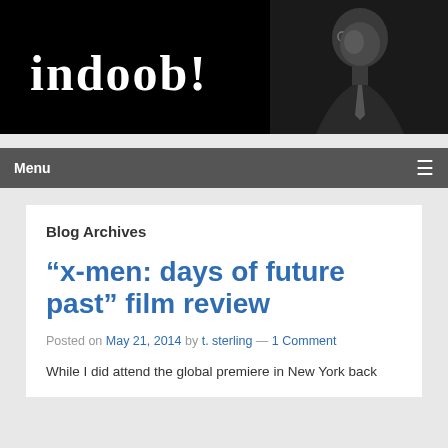[Figure (photo): Black banner with white bold serif text 'indoob!' on the left and a black-and-white portrait photo of a man wearing glasses on the right]
Menu
Blog Archives
“x-men: days of future past” film review
Posted on May 21, 2014 by t. sterling — 1 Comment
While I did attend the global premiere in New York back